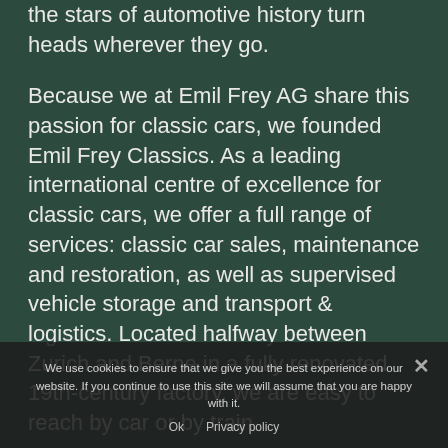the stars of automotive history turn heads wherever they go.
Because we at Emil Frey AG share this passion for classic cars, we founded Emil Frey Classics. As a leading international centre of excellence for classic cars, we offer a full range of services: classic car sales, maintenance and restoration, as well as supervised vehicle storage and transport & logistics. Located halfway between Zurich and Berne in a fully renovated 19th-century factory, we are easy to reach by car or by train.
Today's classic car enthusiasts are looking for an exceptional, reliable partner to advise them and support step of the way. Building on the rich experience of Emil Frey AG, we are committed to doing just that. We look forward to hearing from you. Emil Frey: Your
We use cookies to ensure that we give you the best experience on our website. If you continue to use this site we will assume that you are happy with it. Ok   Privacy policy